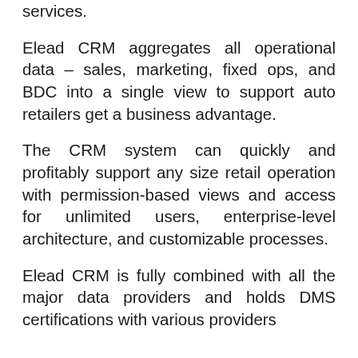services.
Elead CRM aggregates all operational data – sales, marketing, fixed ops, and BDC into a single view to support auto retailers get a business advantage.
The CRM system can quickly and profitably support any size retail operation with permission-based views and access for unlimited users, enterprise-level architecture, and customizable processes.
Elead CRM is fully combined with all the major data providers and holds DMS certifications with various providers